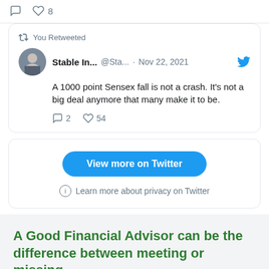[Figure (screenshot): Top strip of a previous tweet showing comment and heart icons with count 8]
[Figure (screenshot): Twitter embedded tweet card. 'You Retweeted' indicator. User: Stable In... @Sta... · Nov 22, 2021. Tweet text: A 1000 point Sensex fall is not a crash. It's not a big deal anymore that many make it to be. Reply count: 2, Like count: 54.]
[Figure (screenshot): Twitter widget buttons: 'View more on Twitter' blue button and 'Learn more about privacy on Twitter' info link]
A Good Financial Advisor can be the difference between meeting or missing